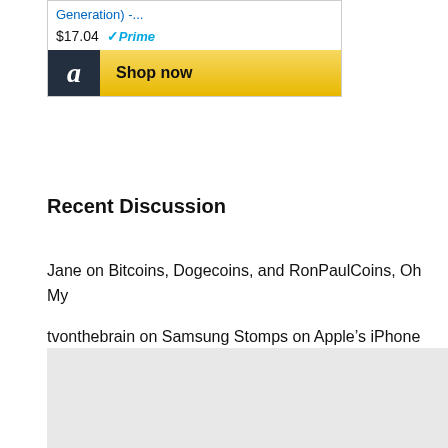[Figure (screenshot): Amazon product widget showing a product price of $17.04 with Prime badge and a 'Shop now' button with Amazon logo]
Recent Discussion
Jane on Bitcoins, Dogecoins, and RonPaulCoins, Oh My
tvonthebrain on Samsung Stomps on Apple’s iPhone in New Galaxy Note 8 Ad
Sofor Ali on Phone Won't charge? Fix your Android with this Micro USB Fix
[Figure (other): Gray placeholder box at the bottom of the page]